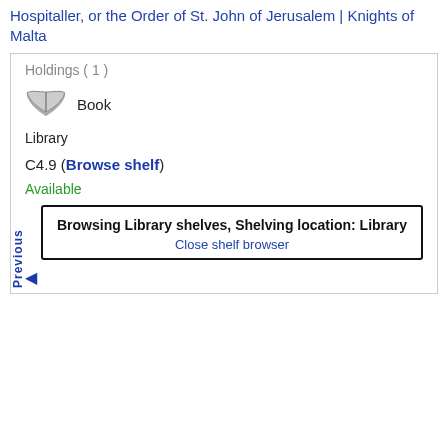Hospitaller, or the Order of St. John of Jerusalem | Knights of Malta
Holdings ( 1 )
Book
Library
C4.9 (Browse shelf)
Available
Previous
Browsing Library shelves, Shelving location: Library
Close shelf browser